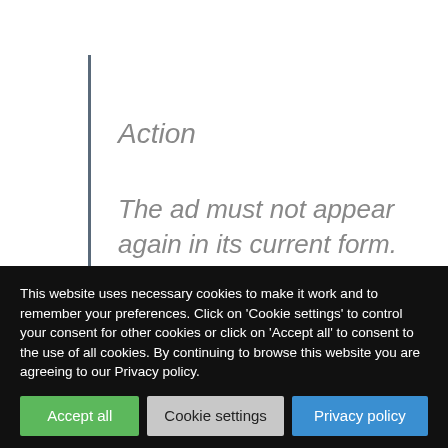Action
The ad must not appear again in its current form. We told the advertisers to remove the claims “Dr”,
This website uses necessary cookies to make it work and to remember your preferences. Click on ‘Cookie settings’ to control your consent for other cookies or click on ‘Accept all’ to consent to the use of all cookies. By continuing to browse this website you are agreeing to our Privacy policy.